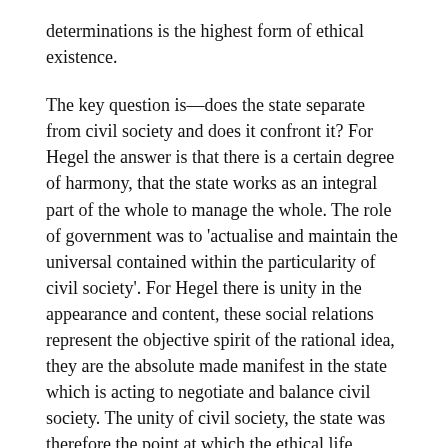determinations is the highest form of ethical existence.
The key question is—does the state separate from civil society and does it confront it? For Hegel the answer is that there is a certain degree of harmony, that the state works as an integral part of the whole to manage the whole. The role of government was to 'actualise and maintain the universal contained within the particularity of civil society'. For Hegel there is unity in the appearance and content, these social relations represent the objective spirit of the rational idea, they are the absolute made manifest in the state which is acting to negotiate and balance civil society. The unity of civil society, the state was therefore the point at which the ethical life (Sittlichkeit) begins—we can now live rational lives in an ordered world.